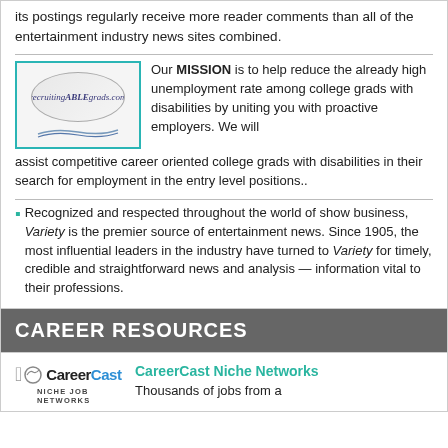its postings regularly receive more reader comments than all of the entertainment industry news sites combined.
[Figure (logo): recruitingABLEgrads.com logo — oval shape with italic text and wave lines, bordered in teal]
Our MISSION is to help reduce the already high unemployment rate among college grads with disabilities by uniting you with proactive employers. We will assist competitive career oriented college grads with disabilities in their search for employment in the entry level positions..
Recognized and respected throughout the world of show business, Variety is the premier source of entertainment news. Since 1905, the most influential leaders in the industry have turned to Variety for timely, credible and straightforward news and analysis — information vital to their professions.
CAREER RESOURCES
[Figure (logo): CareerCast Niche Job Networks logo]
CareerCast Niche Networks
Thousands of jobs from a